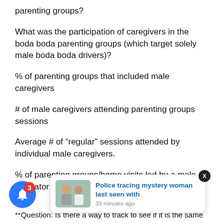parenting groups?
What was the participation of caregivers in the boda boda parenting groups (which target solely male boda boda drivers)?
% of parenting groups that included male caregivers
# of male caregivers attending parenting groups sessions
Average # of “regular” sessions attended by individual male caregivers.
% of parenting groups/home visits led by a male facilitator
attendance she…
[Figure (screenshot): News notification card showing two men and headline: Police tracing mystery woman last seen with. 33 minutes ago.]
**Question: Is there a way to track to see if it is the same